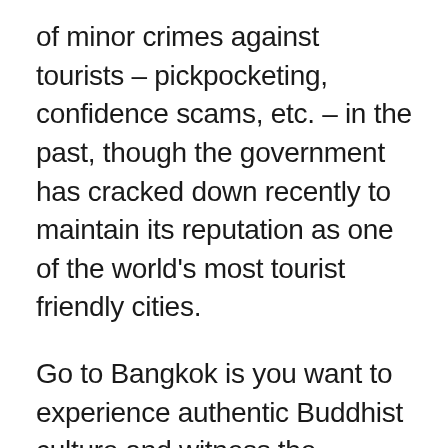of minor crimes against tourists – pickpocketing, confidence scams, etc. – in the past, though the government has cracked down recently to maintain its reputation as one of the world's most tourist friendly cities.
Go to Bangkok is you want to experience authentic Buddhist culture and witness the beautiful chaos of life in a city of nearly 7 million.